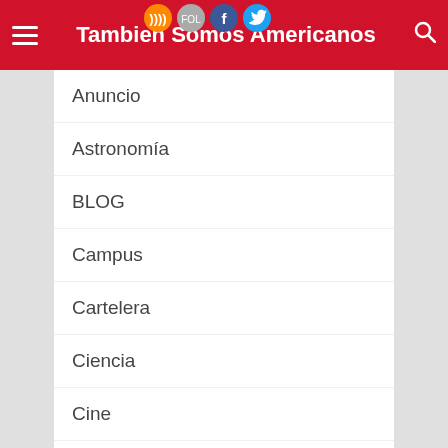Tambien Somos Americanos
Anuncio
Astronomía
BLOG
Campus
Cartelera
Ciencia
Cine
Cultura
Deportes
English
Fotos
Futuro